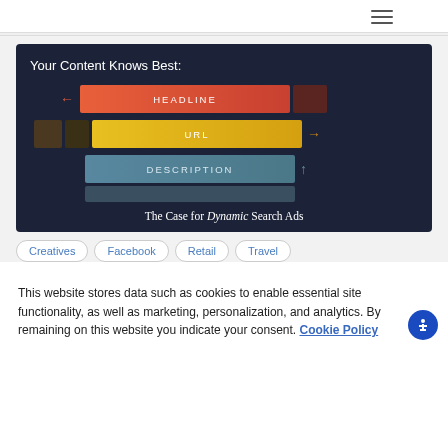≡
[Figure (infographic): Infographic titled 'Your Content Knows Best:' showing three horizontal bars labeled HEADLINE (red/orange), URL (yellow/gold), and DESCRIPTION (teal/blue) with arrows indicating resizing directions. Subtitle reads 'The Case for Dynamic Search Ads']
Creatives
Facebook
Retail
Travel
This website stores data such as cookies to enable essential site functionality, as well as marketing, personalization, and analytics. By remaining on this website you indicate your consent. Cookie Policy